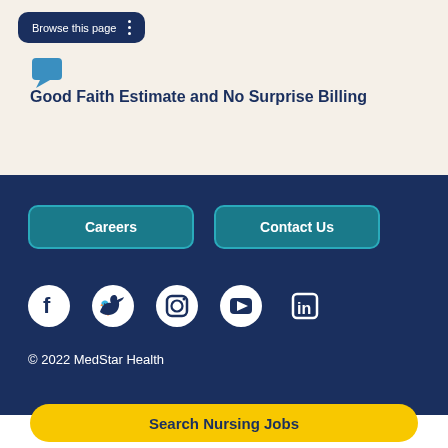Browse this page
Good Faith Estimate and No Surprise Billing
Careers
Contact Us
[Figure (infographic): Social media icons: Facebook, Twitter, Instagram, YouTube, LinkedIn]
© 2022 MedStar Health
Search Nursing Jobs